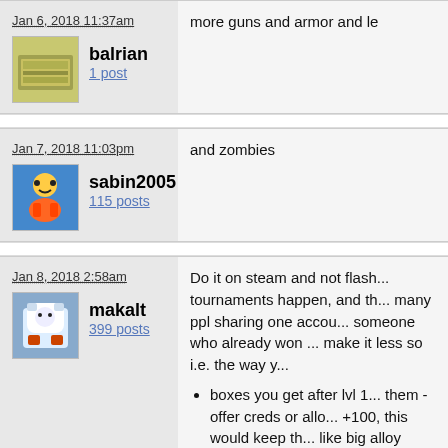Jan 6, 2018 11:37am
balrian
1 post
more guns and armor and le
Jan 7, 2018 11:03pm
sabin2005
115 posts
and zombies
Jan 8, 2018 2:58am
makalt
399 posts
Do it on steam and not flash... tournaments happen, and th... many ppl sharing one accou... someone who already won ... make it less so i.e. the way y...
boxes you get after lvl 1... them - offer creds or allo... +100, this would keep th... like big alloy bonuses or...